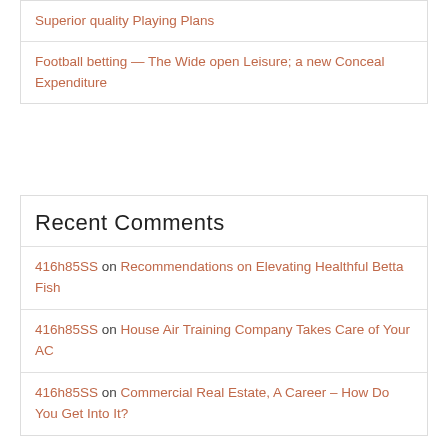Superior quality Playing Plans
Football betting — The Wide open Leisure; a new Conceal Expenditure
Recent Comments
416h85SS on Recommendations on Elevating Healthful Betta Fish
416h85SS on House Air Training Company Takes Care of Your AC
416h85SS on Commercial Real Estate, A Career – How Do You Get Into It?